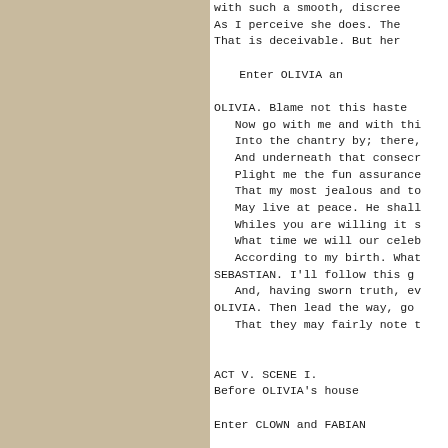with such a smooth, discree
As I perceive she does. The
That is deceivable. But her
Enter OLIVIA an
OLIVIA. Blame not this haste
   Now go with me and with thi
   Into the chantry by; there,
   And underneath that consecr
   Plight me the fun assurance
   That my most jealous and to
   May live at peace. He shall
   Whiles you are willing it s
   What time we will our celeb
   According to my birth. What
SEBASTIAN. I'll follow this g
   And, having sworn truth, ev
OLIVIA. Then lead the way, go
   That they may fairly note t
ACT V. SCENE I.
Before OLIVIA's house
Enter CLOWN and FABIAN
FABIAN. Now, as thou lov'st m
   CLOWN. Good Master Fabian, gr
   FABIAN. Anything.
   CLOWN. Do not desire to see t
   FABIAN. This is to give a dog
   again.